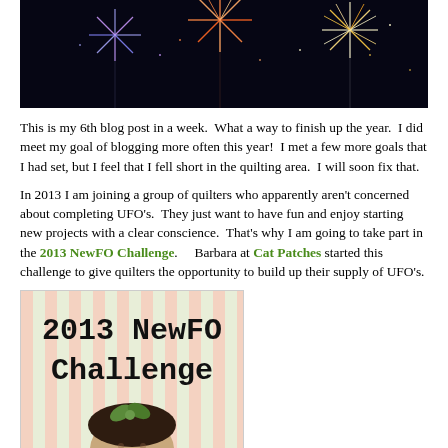[Figure (photo): Fireworks against a dark night sky]
This is my 6th blog post in a week.  What a way to finish up the year.  I did meet my goal of blogging more often this year!  I met a few more goals that I had set, but I feel that I fell short in the quilting area.  I will soon fix that.
In 2013 I am joining a group of quilters who apparently aren't concerned about completing UFO's.  They just want to have fun and enjoy starting new projects with a clear conscience.  That's why I am going to take part in the 2013 NewFO Challenge.    Barbara at Cat Patches started this challenge to give quilters the opportunity to build up their supply of UFO's.
[Figure (illustration): 2013 NewFO Challenge badge/logo with striped background and cartoon character]